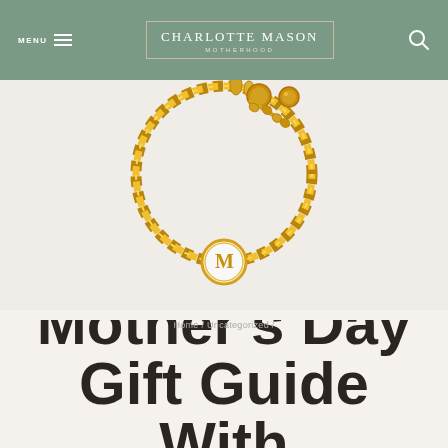MENU | CHARLOTTE MASON MOTHERHOOD
[Figure (photo): Gold chain bracelet with a round white enamel medallion charm featuring the letter M in gold, photographed on a light background]
Home / Uncategorized /
Mother's Day Gift Guide with $50 Giveaway